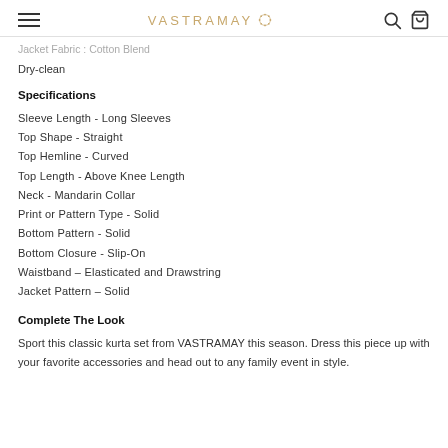VASTRAMAY
Jacket Fabric : Cotton Blend
Dry-clean
Specifications
Sleeve Length - Long Sleeves
Top Shape - Straight
Top Hemline - Curved
Top Length - Above Knee Length
Neck - Mandarin Collar
Print or Pattern Type - Solid
Bottom Pattern - Solid
Bottom Closure - Slip-On
Waistband – Elasticated and Drawstring
Jacket Pattern – Solid
Complete The Look
Sport this classic kurta set from VASTRAMAY this season. Dress this piece up with your favorite accessories and head out to any family event in style.